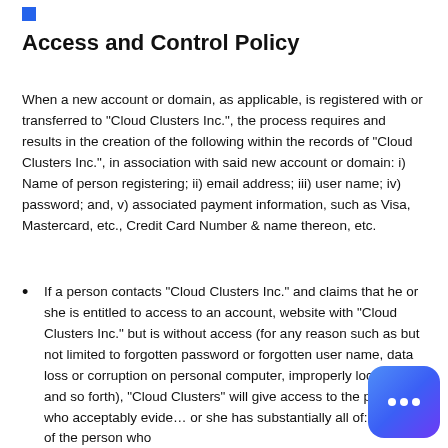Access and Control Policy
When a new account or domain, as applicable, is registered with or transferred to "Cloud Clusters Inc.", the process requires and results in the creation of the following within the records of "Cloud Clusters Inc.", in association with said new account or domain: i) Name of person registering; ii) email address; iii) user name; iv) password; and, v) associated payment information, such as Visa, Mastercard, etc., Credit Card Number & name thereon, etc.
If a person contacts "Cloud Clusters Inc." and claims that he or she is entitled to access to an account, website with "Cloud Clusters Inc." but is without access (for any reason such as but not limited to forgotten password or forgotten user name, data loss or corruption on personal computer, improperly locked out, and so forth), "Cloud Clusters" will give access to the person who acceptably evidences he or she has substantially all of: i) name of the person who